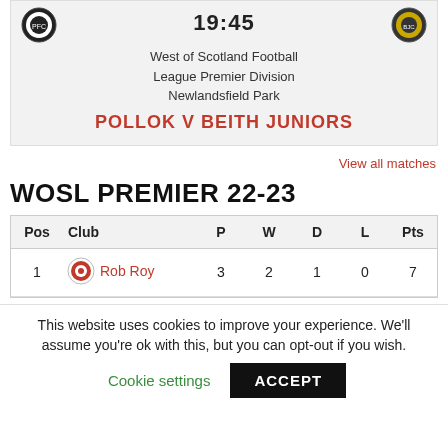19:45
West of Scotland Football
League Premier Division
Newlandsfield Park
POLLOK V BEITH JUNIORS
View all matches
WOSL PREMIER 22-23
| Pos | Club | P | W | D | L | Pts |
| --- | --- | --- | --- | --- | --- | --- |
| 1 | Rob Roy | 3 | 2 | 1 | 0 | 7 |
This website uses cookies to improve your experience. We'll assume you're ok with this, but you can opt-out if you wish.
Cookie settings
ACCEPT